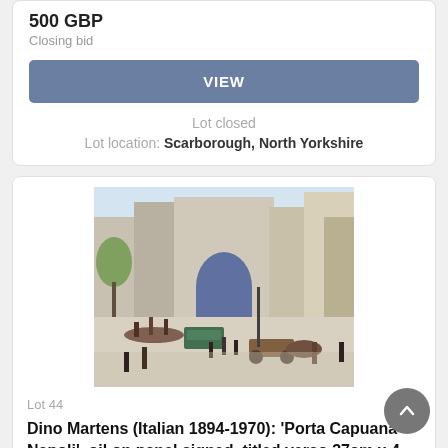500 GBP
Closing bid
VIEW
Lot closed
Lot location: Scarborough, North Yorkshire
[Figure (photo): Oil painting depicting a busy city square with a large archway building, crowds of people, a tram, and horse-drawn carriages in the foreground. Impressionist style.]
Lot 44
Dino Martens (Italian 1894-1970): 'Porta Capuana Napoli', oil on panel signed, titled verso 37cm x 4...